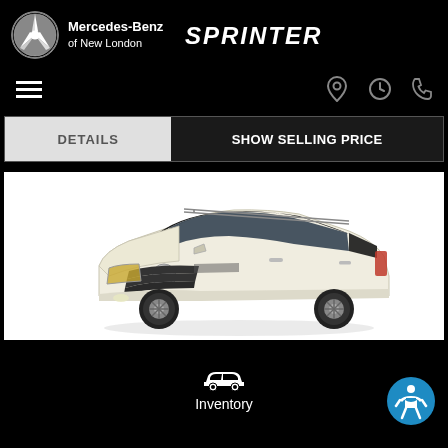[Figure (logo): Mercedes-Benz of New London logo with star emblem and Sprinter wordmark on black header]
Mercedes-Benz of New London | SPRINTER
[Figure (infographic): Navigation bar with hamburger menu icon on left and location pin, clock, and phone icons on right]
DETAILS | SHOW SELLING PRICE
[Figure (photo): White/cream Mercedes-Benz GLE SUV front three-quarter view on white background]
[Figure (infographic): Bottom navigation bar with car/inventory icon and Inventory label, plus blue accessibility button]
Inventory